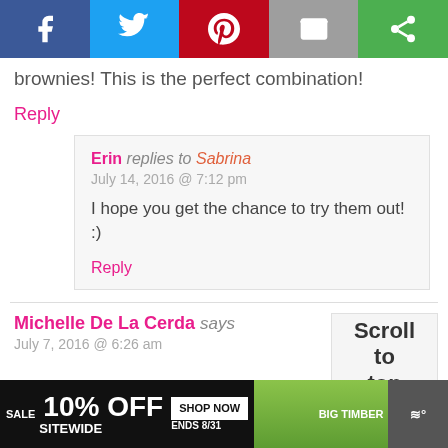[Figure (screenshot): Social share bar with Facebook, Twitter, Pinterest, Email, and other share buttons]
brownies! This is the perfect combination!
Reply
Erin replies to Sabrina
July 14, 2016 @ 7:12 pm

I hope you get the chance to try them out! :)
Reply
Michelle De La Cerda says
July 7, 2016 @ 6:26 am
Scroll to top
[Figure (screenshot): Advertisement banner: SALE 10% OFF SITEWIDE, SHOP NOW, ENDS 8/31, BIG TIMBER]